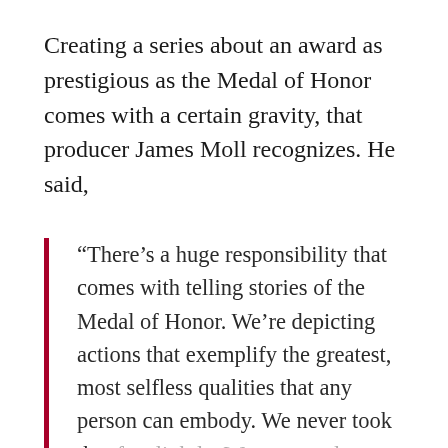Creating a series about an award as prestigious as the Medal of Honor comes with a certain gravity, that producer James Moll recognizes. He said,
“There’s a huge responsibility that comes with telling stories of the Medal of Honor. We’re depicting actions that exemplify the greatest, most selfless qualities that any person can embody. We never took that fact lightly. We constantly questioned ourselves.